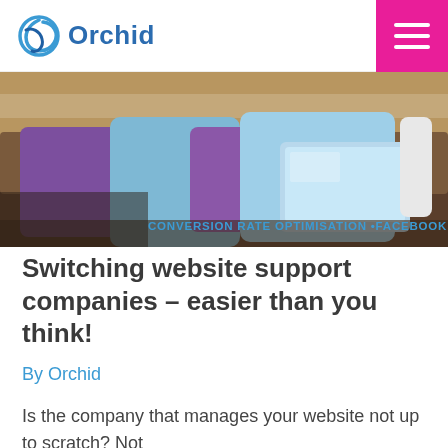Orchid
[Figure (photo): A couch with colourful cushions (purple, blue, teal) and a laptop, against a wooden wall background — a lifestyle/home-office style photo.]
CONVERSION RATE OPTIMISATION •FACEBOOK
Switching website support companies – easier than you think!
By Orchid
Is the company that manages your website not up to scratch? Not